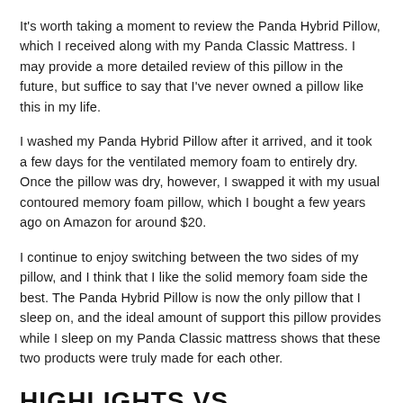It's worth taking a moment to review the Panda Hybrid Pillow, which I received along with my Panda Classic Mattress. I may provide a more detailed review of this pillow in the future, but suffice to say that I've never owned a pillow like this in my life.
I washed my Panda Hybrid Pillow after it arrived, and it took a few days for the ventilated memory foam to entirely dry. Once the pillow was dry, however, I swapped it with my usual contoured memory foam pillow, which I bought a few years ago on Amazon for around $20.
I continue to enjoy switching between the two sides of my pillow, and I think that I like the solid memory foam side the best. The Panda Hybrid Pillow is now the only pillow that I sleep on, and the ideal amount of support this pillow provides while I sleep on my Panda Classic mattress shows that these two products were truly made for each other.
HIGHLIGHTS VS. LOWLIGHTS